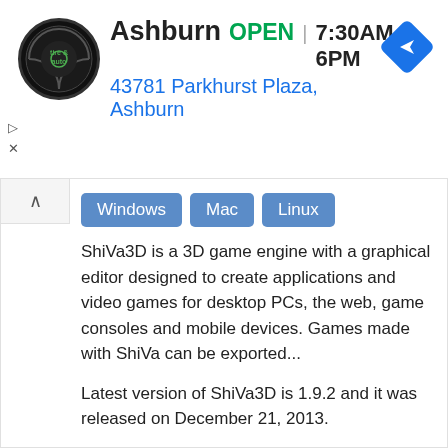[Figure (screenshot): Ad banner for Virginia Tire & Auto showing logo, Ashburn location, OPEN status, hours 7:30AM-6PM, address 43781 Parkhurst Plaza, Ashburn, and navigation icon]
Windows  Mac  Linux
ShiVa3D is a 3D game engine with a graphical editor designed to create applications and video games for desktop PCs, the web, game consoles and mobile devices. Games made with ShiVa can be exported...
Latest version of ShiVa3D is 1.9.2 and it was released on December 21, 2013.
Tags: Game Engines For Linux, Iphone Video Game Engines, Luascriptable Game Engines, Video Game Development Software, Video Game Engines